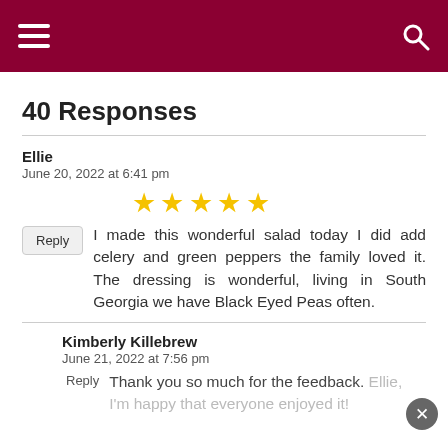Navigation header with hamburger menu and search icon
40 Responses
Ellie
June 20, 2022 at 6:41 pm
★★★★★
I made this wonderful salad today I did add celery and green peppers the family loved it. The dressing is wonderful, living in South Georgia we have Black Eyed Peas often.
Kimberly Killebrew
June 21, 2022 at 7:56 pm
Thank you so much for the feedback. Ellie, I'm happy that everyone enjoyed it!